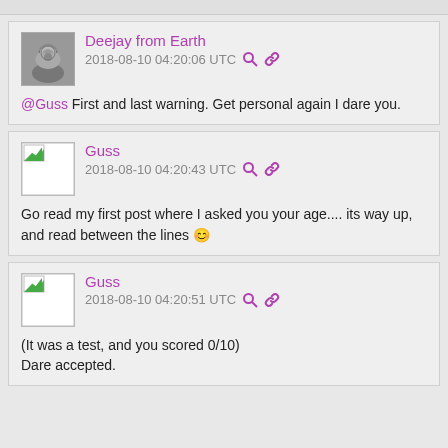Deejay from Earth
2018-08-10 04:20:06 UTC
@Guss First and last warning. Get personal again I dare you.
Guss
2018-08-10 04:20:43 UTC
Go read my first post where I asked you your age.... its way up, and read between the lines 😊
Guss
2018-08-10 04:20:51 UTC
(It was a test, and you scored 0/10)
Dare accepted.